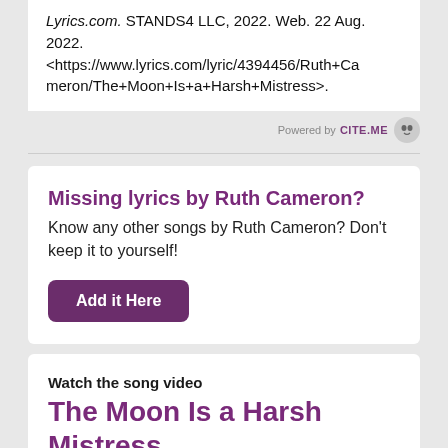Lyrics.com. STANDS4 LLC, 2022. Web. 22 Aug. 2022. <https://www.lyrics.com/lyric/4394456/Ruth+Cameron/The+Moon+Is+a+Harsh+Mistress>.
[Figure (logo): Powered by CITE.ME logo with owl icon]
Missing lyrics by Ruth Cameron?
Know any other songs by Ruth Cameron? Don't keep it to yourself!
Add it Here
Watch the song video
The Moon Is a Harsh Mistress